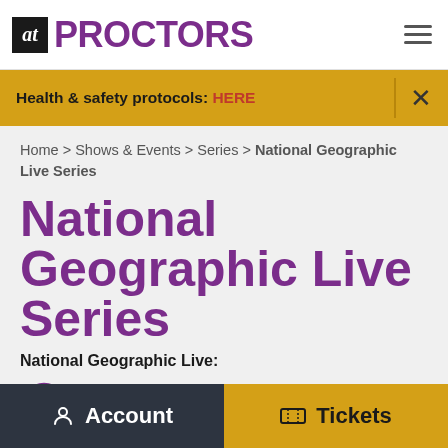at PROCTORS
Health & safety protocols: HERE
Home > Shows & Events > Series > National Geographic Live Series
National Geographic Live Series
National Geographic Live:
bscriptions for all three shows is just $60.
Account   Tickets